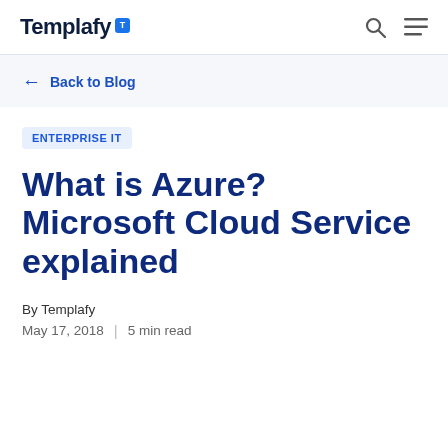Templafy
← Back to Blog
ENTERPRISE IT
What is Azure? Microsoft Cloud Service explained
By Templafy
May 17, 2018  |  5 min read